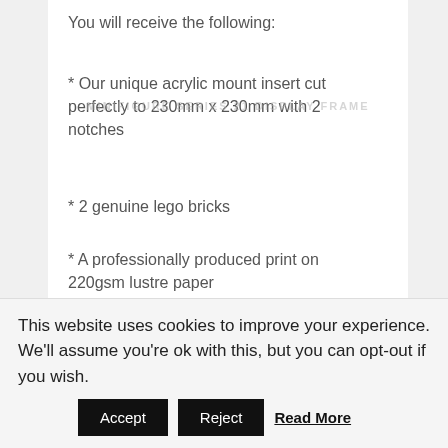You will receive the following:
* Our unique acrylic mount insert cut perfectly to 230mm x 230mm with 2 notches
* 2 genuine lego bricks
* A professionally produced print on 220gsm lustre paper
So all you need is a bit of glue and some
This website uses cookies to improve your experience. We'll assume you're ok with this, but you can opt-out if you wish.
Accept
Reject
Read More